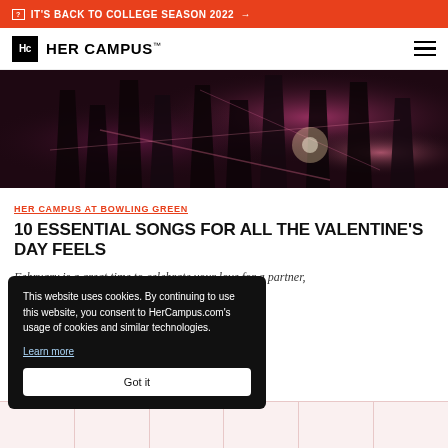IT'S BACK TO COLLEGE SEASON 2022 →
HER CAMPUS™
[Figure (photo): Dark moody photo of musicians/instruments with purple and pink stage lighting]
HER CAMPUS AT BOWLING GREEN
10 ESSENTIAL SONGS FOR ALL THE VALENTINE'S DAY FEELS
February is a great time to celebrate your love for a partner, c, I feel as though it amplifies
This website uses cookies. By continuing to use this website, you consent to HerCampus.com's usage of cookies and similar technologies. Learn more Got it